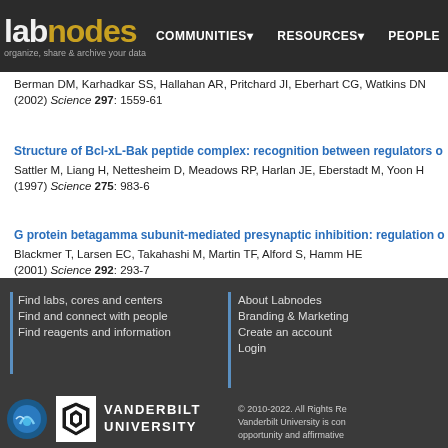labnodes — organize, share & archive your data | COMMUNITIES | RESOURCES | PEOPLE
Berman DM, Karhadkar SS, Hallahan AR, Pritchard JI, Eberhart CG, Watkins DN (2002) Science 297: 1559-61
Structure of Bcl-xL-Bak peptide complex: recognition between regulators o... — Sattler M, Liang H, Nettesheim D, Meadows RP, Harlan JE, Eberstadt M, Yoon H (1997) Science 275: 983-6
G protein betagamma subunit-mediated presynaptic inhibition: regulation o... — Blackmer T, Larsen EC, Takahashi M, Martin TF, Alford S, Hamm HE (2001) Science 292: 293-7
Find labs, cores and centers | Find and connect with people | Find reagents and information | About Labnodes | Branding & Marketing | Create an account | Login | © 2010-2022. All Rights Reserved. Vanderbilt University is committed to equal opportunity and affirmative...